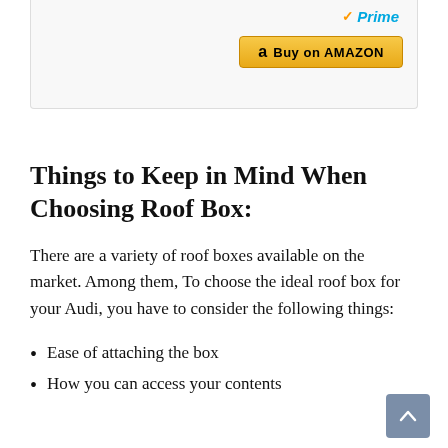[Figure (screenshot): Amazon Prime buy button widget showing Prime checkmark logo and 'Buy on AMAZON' button in gold/yellow color]
Things to Keep in Mind When Choosing Roof Box:
There are a variety of roof boxes available on the market. Among them, To choose the ideal roof box for your Audi, you have to consider the following things:
Ease of attaching the box
How you can access your contents